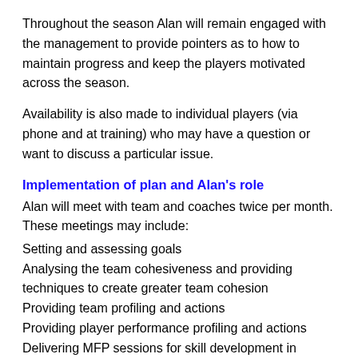Throughout the season Alan will remain engaged with the management to provide pointers as to how to maintain progress and keep the players motivated across the season.
Availability is also made to individual players (via phone and at training) who may have a question or want to discuss a particular issue.
Implementation of plan and Alan's role
Alan will meet with team and coaches twice per month. These meetings may include:
Setting and assessing goals
Analysing the team cohesiveness and providing techniques to create greater team cohesion
Providing team profiling and actions
Providing player performance profiling and actions
Delivering MFP sessions for skill development in commitment, control, confidence and concentration